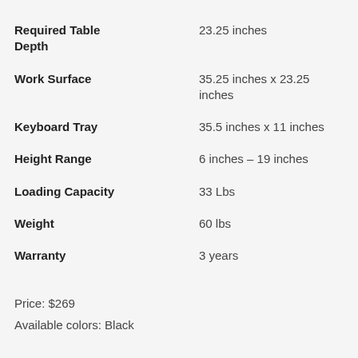| Attribute | Value |
| --- | --- |
| Required Table Depth | 23.25 inches |
| Work Surface | 35.25 inches x 23.25 inches |
| Keyboard Tray | 35.5 inches x 11 inches |
| Height Range | 6 inches – 19 inches |
| Loading Capacity | 33 Lbs |
| Weight | 60 lbs |
| Warranty | 3 years |
Price: $269
Available colors: Black